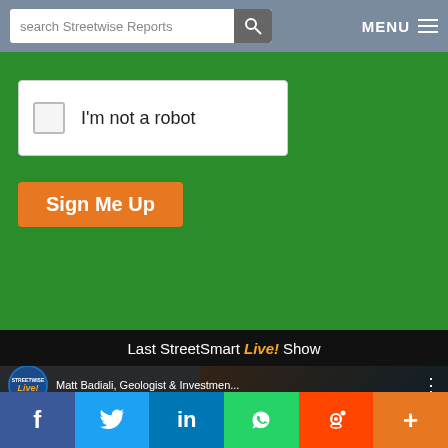search Streetwise Reports  MENU
[Figure (screenshot): CAPTCHA checkbox with text 'I'm not a robot']
Sign Me Up
Last StreetSmart Live! Show
[Figure (screenshot): YouTube video thumbnail showing Streetwise Live! with Matt Badiali, Geologist & Investment Analyst, Tells Cyndi Why He Believes Dakota Gold...]
f  Twitter  in  WhatsApp  Reddit  +